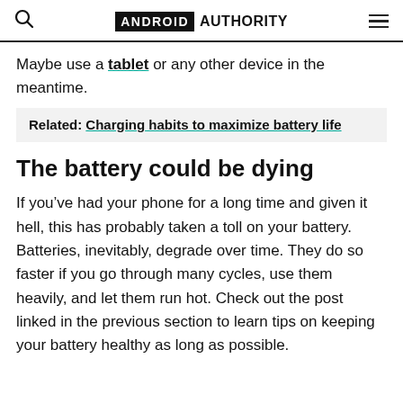ANDROID AUTHORITY
Maybe use a tablet or any other device in the meantime.
Related: Charging habits to maximize battery life
The battery could be dying
If you've had your phone for a long time and given it hell, this has probably taken a toll on your battery. Batteries, inevitably, degrade over time. They do so faster if you go through many cycles, use them heavily, and let them run hot. Check out the post linked in the previous section to learn tips on keeping your battery healthy as long as possible.